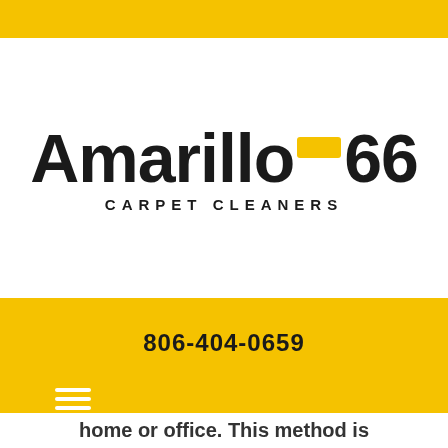[Figure (logo): Amarillo 66 Carpet Cleaners logo with yellow dash/arrow accent between 'Amarillo' and '66', with 'CARPET CLEANERS' subtitle in spaced capitals]
806-404-0659
[Figure (other): Hamburger menu icon (three horizontal white lines)]
home or office. This method is